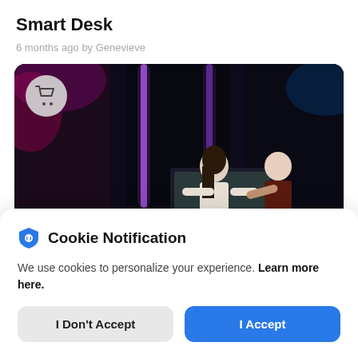Smart Desk
6 months ago by Genevieve
[Figure (photo): Two people standing at a smart desk with large monitors in a dark, neon-lit room. A shopping cart icon is overlaid in the top-left corner of the image.]
Cookie Notification
We use cookies to personalize your experience. Learn more here.
I Don't Accept
I Accept